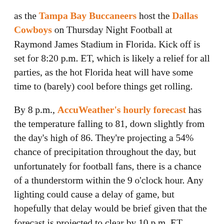as the Tampa Bay Buccaneers host the Dallas Cowboys on Thursday Night Football at Raymond James Stadium in Florida. Kick off is set for 8:20 p.m. ET, which is likely a relief for all parties, as the hot Florida heat will have some time to (barely) cool before things get rolling.
By 8 p.m., AccuWeather's hourly forecast has the temperature falling to 81, down slightly from the day's high of 86. They're projecting a 54% chance of precipitation throughout the day, but unfortunately for football fans, there is a chance of a thunderstorm within the 9 o'clock hour. Any lighting could cause a delay of game, but hopefully that delay would be brief given that the forecast is projected to clear by 10 p.m. ET.